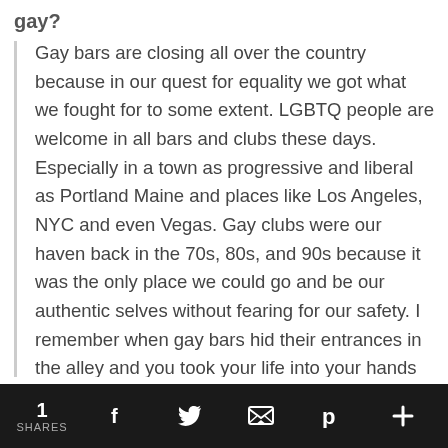gay?
Gay bars are closing all over the country because in our quest for equality we got what we fought for to some extent. LGBTQ people are welcome in all bars and clubs these days. Especially in a town as progressive and liberal as Portland Maine and places like Los Angeles, NYC and even Vegas. Gay clubs were our haven back in the 70s, 80s, and 90s because it was the only place we could go and be our authentic selves without fearing for our safety. I remember when gay bars hid their entrances in the alley and you took your life into your hands just getting to the entrance. I often say, "I remember when the back door was the front door." As for Flask, why would I have an issue
1 SHARES